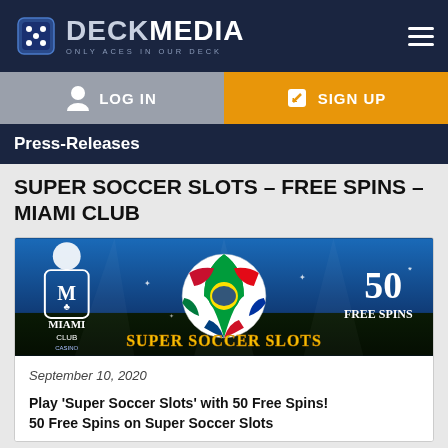[Figure (logo): Deck Media logo with dice icon and tagline 'Only Aces in Our Deck' on dark navy background, with hamburger menu icon top right]
[Figure (infographic): Login button (grey) and Sign Up button (orange) side by side with icons]
Press-Releases
SUPER SOCCER SLOTS – FREE SPINS – MIAMI CLUB
[Figure (photo): Miami Club Casino promotional banner for Super Soccer Slots showing a football/soccer ball decorated with international flags, Miami Club casino logo on the left, yellow text 'SUPER SOCCER SLOTS' and '50 FREE SPINS' on the right]
September 10, 2020
Play 'Super Soccer Slots' with 50 Free Spins!
50 Free Spins on Super Soccer Slots